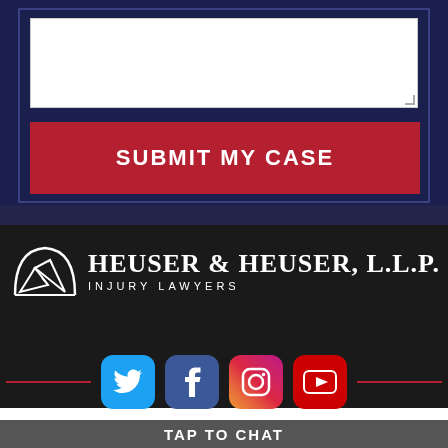[Figure (screenshot): Web form with text area input field and submit button on dark navy background]
SUBMIT MY CASE
[Figure (logo): Heuser & Heuser, L.L.P. Injury Lawyers logo with mountain graphic on dark background]
[Figure (infographic): Social media icons row: Twitter, Facebook, Instagram, YouTube with red accent lines]
TAP TO CHAT